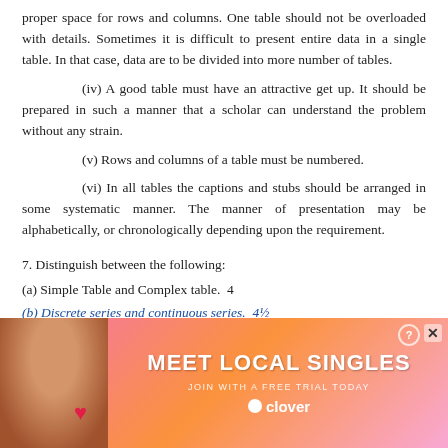proper space for rows and columns. One table should not be overloaded with details. Sometimes it is difficult to present entire data in a single table. In that case, data are to be divided into more number of tables.
(iv) A good table must have an attractive get up. It should be prepared in such a manner that a scholar can understand the problem without any strain.
(v) Rows and columns of a table must be numbered.
(vi) In all tables the captions and stubs should be arranged in some systematic manner. The manner of presentation may be alphabetically, or chronologically depending upon the requirement.
7. Distinguish between the following:
(a) Simple Table and Complex table.  4
(b) Discrete series and continuous series.  4½
[Figure (photo): Advertisement banner: 'Meet Local Singles - Join with a free trial today' by Clover, with a photo of a woman and pink/orange gradient background.]